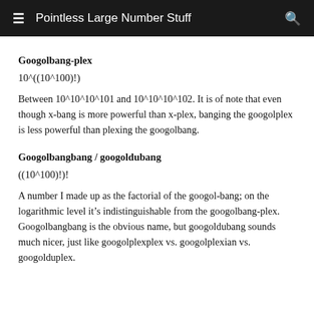Pointless Large Number Stuff
Googolbang-plex
Between 10^10^10^101 and 10^10^10^102. It is of note that even though x-bang is more powerful than x-plex, banging the googolplex is less powerful than plexing the googolbang.
Googolbangbang / googoldubang
A number I made up as the factorial of the googol-bang; on the logarithmic level it’s indistinguishable from the googolbang-plex. Googolbangbang is the obvious name, but googoldubang sounds much nicer, just like googolplexplex vs. googolplexian vs. googolduplex.